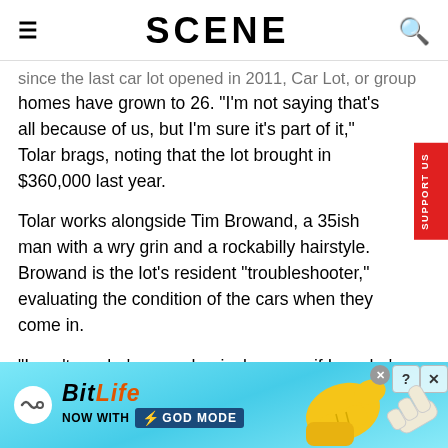SCENE
since the last car lot opened in 2011, Car Lot, or group homes have grown to 26. "I'm not saying that's all because of us, but I'm sure it's part of it," Tolar brags, noting that the lot brought in $360,000 last year.
Tolar works alongside Tim Browand, a 35ish man with a wry grin and a rockabilly hairstyle. Browand is the lot's resident "troubleshooter," evaluating the condition of the cars when they come in.
"I can't say he's a mechanic, because if I say he's a mechanic, I'll get in trouble," says Tolar, noting that
[Figure (infographic): BitLife advertisement banner with light blue background, BitLife logo, 'NOW WITH GOD MODE' text, and cartoon hand pointing.]